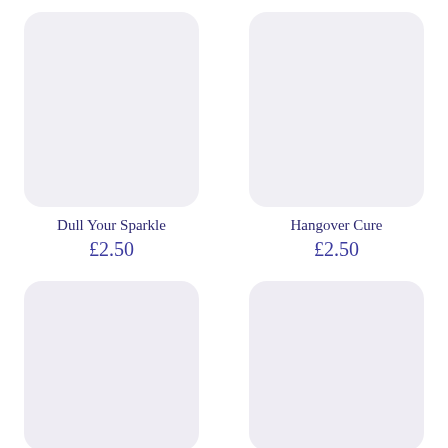[Figure (illustration): Product image placeholder with light purple/grey rounded rectangle background for Dull Your Sparkle]
Dull Your Sparkle
£2.50
[Figure (illustration): Product image placeholder with light purple/grey rounded rectangle background for Hangover Cure]
Hangover Cure
£2.50
[Figure (illustration): Product image placeholder with light purple/grey rounded rectangle background, bottom-left card]
[Figure (illustration): Product image placeholder with light purple/grey rounded rectangle background, bottom-right card]